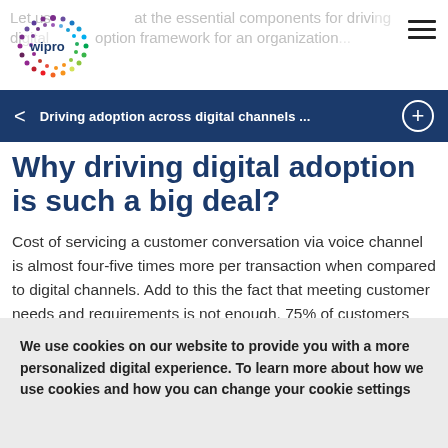Let us at the essential components for driving digital adoption framework for an organization ...
[Figure (logo): Wipro logo with colorful dotted circle]
Driving adoption across digital channels ...
Why driving digital adoption is such a big deal?
Cost of servicing a customer conversation via voice channel is almost four-five times more per transaction when compared to digital channels. Add to this the fact that meeting customer needs and requirements is not enough. 75% of customers
We use cookies on our website to provide you with a more personalized digital experience. To learn more about how we use cookies and how you can change your cookie settings